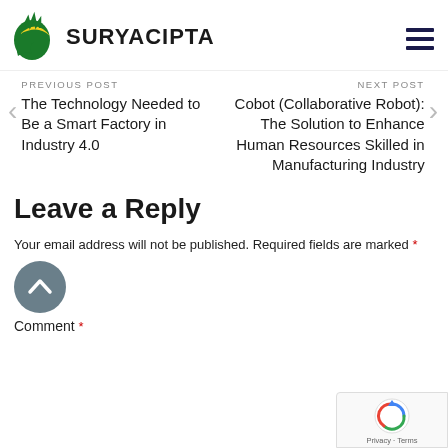[Figure (logo): Suryacipta logo: green dragon/leaf emblem with yellow crescent and bold SURYACIPTA text]
[Figure (other): Hamburger menu icon (three horizontal dark navy lines)]
PREVIOUS POST
The Technology Needed to Be a Smart Factory in Industry 4.0
NEXT POST
Cobot (Collaborative Robot): The Solution to Enhance Human Resources Skilled in Manufacturing Industry
Leave a Reply
Your email address will not be published. Required fields are marked *
Comment *